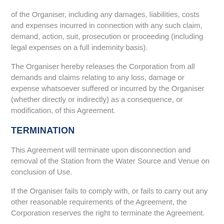of the Organiser, including any damages, liabilities, costs and expenses incurred in connection with any such claim, demand, action, suit, prosecution or proceeding (including legal expenses on a full indemnity basis).
The Organiser hereby releases the Corporation from all demands and claims relating to any loss, damage or expense whatsoever suffered or incurred by the Organiser (whether directly or indirectly) as a consequence, or modification, of this Agreement.
TERMINATION
This Agreement will terminate upon disconnection and removal of the Station from the Water Source and Venue on conclusion of Use.
If the Organiser fails to comply with, or fails to carry out any other reasonable requirements of the Agreement, the Corporation reserves the right to terminate the Agreement.